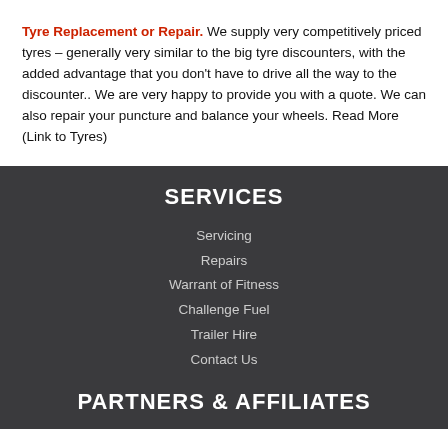Tyre Replacement or Repair. We supply very competitively priced tyres – generally very similar to the big tyre discounters, with the added advantage that you don't have to drive all the way to the discounter.. We are very happy to provide you with a quote. We can also repair your puncture and balance your wheels. Read More (Link to Tyres)
SERVICES
Servicing
Repairs
Warrant of Fitness
Challenge Fuel
Trailer Hire
Contact Us
PARTNERS & AFFILIATES